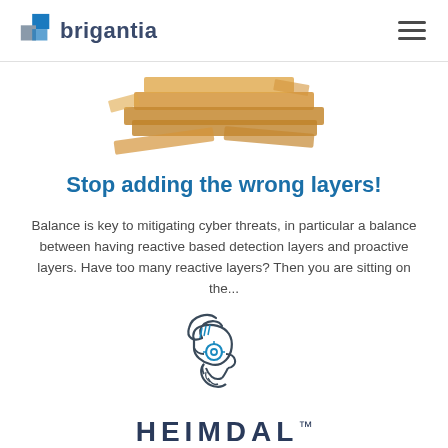brigantia
[Figure (photo): Stacked wooden block tower (Jenga-like blocks), partially collapsed, showing wooden planks stacked horizontally]
Stop adding the wrong layers!
Balance is key to mitigating cyber threats, in particular a balance between having reactive based detection layers and proactive layers. Have too many reactive layers? Then you are sitting on the...
[Figure (logo): Heimdal logo: stylized Viking/Norse warrior head in profile, wearing a helmet, with a circular blue eye/scope element, drawn in minimal line art style in dark gray and blue]
HEIMDAL™